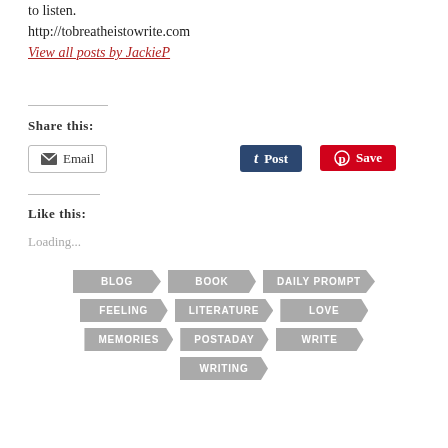to listen.
http://tobreatheistowrite.com
View all posts by JackieP
Share this:
Email
Post
Save
Like this:
Loading...
BLOG
BOOK
DAILY PROMPT
FEELING
LITERATURE
LOVE
MEMORIES
POSTADAY
WRITE
WRITING